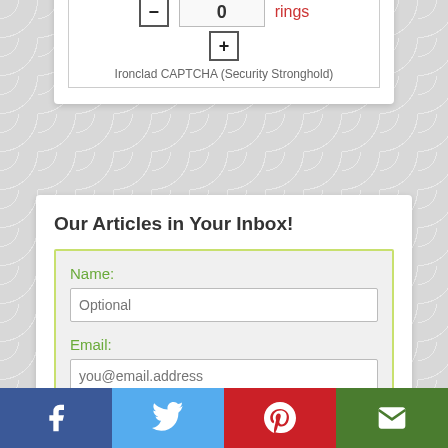[Figure (screenshot): Ironclad CAPTCHA widget with minus button, numeric input showing 0, plus button, and label 'rings']
Ironclad CAPTCHA (Security Stronghold)
Our Articles in Your Inbox!
Name:
Optional
Email:
you@email.address
Submit
[Figure (infographic): Social sharing bar with Facebook, Twitter, Pinterest, and Email buttons]